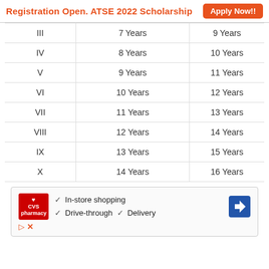Registration Open. ATSE 2022 Scholarship   Apply Now!!
| III | 7 Years | 9 Years |
| IV | 8 Years | 10 Years |
| V | 9 Years | 11 Years |
| VI | 10 Years | 12 Years |
| VII | 11 Years | 13 Years |
| VIII | 12 Years | 14 Years |
| IX | 13 Years | 15 Years |
| X | 14 Years | 16 Years |
[Figure (infographic): CVS Pharmacy advertisement showing In-store shopping, Drive-through, and Delivery services with navigation arrow icon]